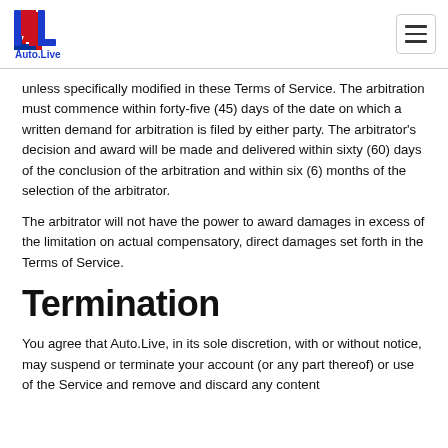Auto.Live
unless specifically modified in these Terms of Service. The arbitration must commence within forty-five (45) days of the date on which a written demand for arbitration is filed by either party. The arbitrator's decision and award will be made and delivered within sixty (60) days of the conclusion of the arbitration and within six (6) months of the selection of the arbitrator.
The arbitrator will not have the power to award damages in excess of the limitation on actual compensatory, direct damages set forth in the Terms of Service.
Termination
You agree that Auto.Live, in its sole discretion, with or without notice, may suspend or terminate your account (or any part thereof) or use of the Service and remove and discard any content